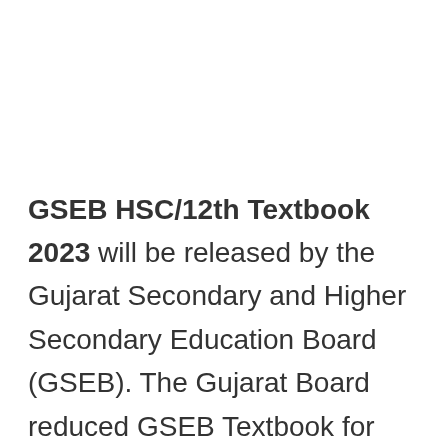GSEB HSC/12th Textbook 2023 will be released by the Gujarat Secondary and Higher Secondary Education Board (GSEB). The Gujarat Board reduced GSEB Textbook for